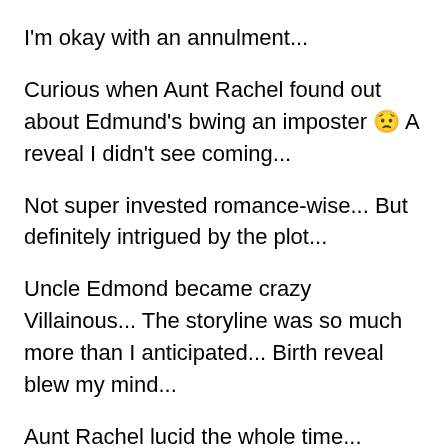I'm okay with an annulment...
Curious when Aunt Rachel found out about Edmund's bwing an imposter 😟 A reveal I didn't see coming...
Not super invested romance-wise... But definitely intrigued by the plot...
Uncle Edmond became crazy Villainous... The storyline was so much more than I anticipated... Birth reveal blew my mind...
Aunt Rachel lucid the whole time... Playing dumb vs being dumb is annother point of contemplation...
Story got a little bonkers but, in doing so, became more... So much happens in the last 3 chapters ... The last one has 1 to do yet 😟 Had to resist before